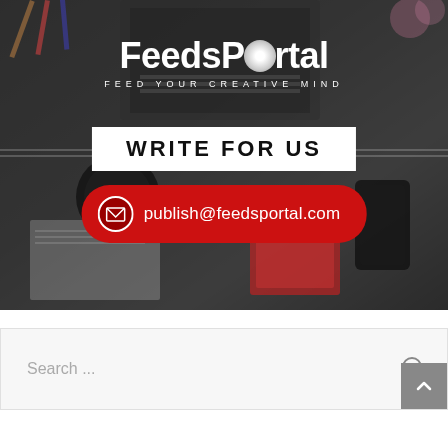[Figure (photo): FeedsPortal banner with dark overlay over a desk photo showing laptops, calculator, phones. Contains logo 'FeedsPortal - Feed Your Creative Mind', 'WRITE FOR US' text in white box, and red pill-shaped email contact 'publish@feedsportal.com']
Search ...